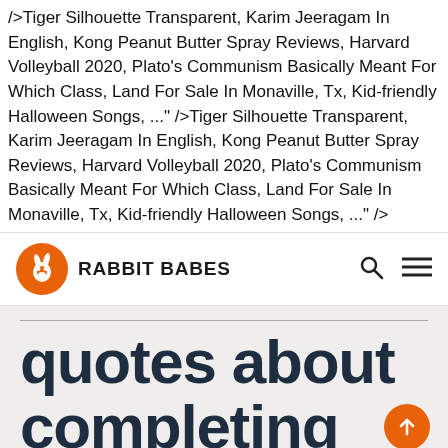/>Tiger Silhouette Transparent, Karim Jeeragam In English, Kong Peanut Butter Spray Reviews, Harvard Volleyball 2020, Plato's Communism Basically Meant For Which Class, Land For Sale In Monaville, Tx, Kid-friendly Halloween Songs, ..." />Tiger Silhouette Transparent, Karim Jeeragam In English, Kong Peanut Butter Spray Reviews, Harvard Volleyball 2020, Plato's Communism Basically Meant For Which Class, Land For Sale In Monaville, Tx, Kid-friendly Halloween Songs, ..." />
[Figure (logo): Rabbit Babes logo: orange circle with white rabbit silhouette, followed by bold text RABBIT BABES]
quotes about completing something